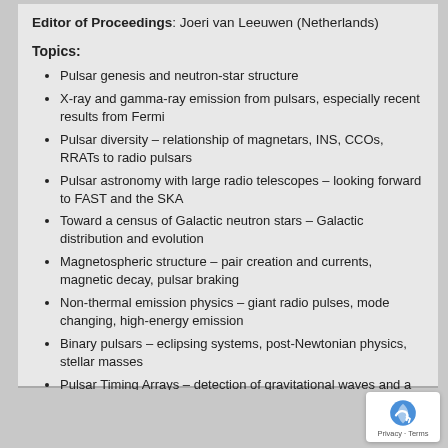Editor of Proceedings: Joeri van Leeuwen (Netherlands)
Topics:
Pulsar genesis and neutron-star structure
X-ray and gamma-ray emission from pulsars, especially recent results from Fermi
Pulsar diversity – relationship of magnetars, INS, CCOs, RRATs to radio pulsars
Pulsar astronomy with large radio telescopes – looking forward to FAST and the SKA
Toward a census of Galactic neutron stars – Galactic distribution and evolution
Magnetospheric structure – pair creation and currents, magnetic decay, pulsar braking
Non-thermal emission physics – giant radio pulses, mode changing, high-energy emission
Binary pulsars – eclipsing systems, post-Newtonian physics, stellar masses
Pulsar Timing Arrays – detection of gravitational waves and a pulsar time standard
Pulsars as probes of the interstellar medium